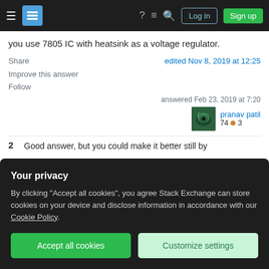Stack Exchange navigation bar with hamburger menu, logo, help, chat, search, Log in and Sign up buttons
you use 7805 IC with heatsink as a voltage regulator.
Share   edited Nov 8, 2019 at 12:25
Improve this answer
Follow
answered Feb 23, 2019 at 7:20
pranav patil
74  ○3
2   Good answer, but you could make it better still by
Your privacy
By clicking "Accept all cookies", you agree Stack Exchange can store cookies on your device and disclose information in accordance with our Cookie Policy.
Accept all cookies    Customize settings
dedicated electronics site.